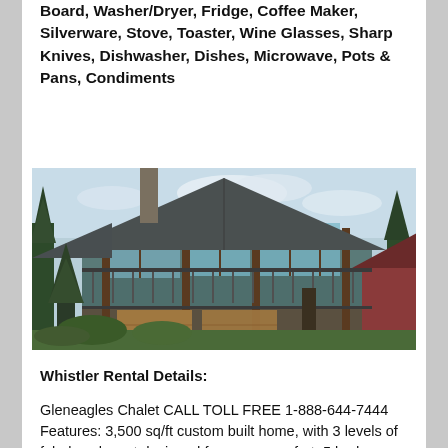Board, Washer/Dryer, Fridge, Coffee Maker, Silverware, Stove, Toaster, Wine Glasses, Sharp Knives, Dishwasher, Dishes, Microwave, Pots & Pans, Condiments
[Figure (photo): Exterior photo of a large chalet-style home with dark metal roof, timber framing, large windows, teal/green siding, wooden garage doors, surrounded by evergreen trees and smaller trees in foreground.]
Whistler Rental Details:
Gleneagles Chalet CALL TOLL FREE 1-888-644-7444 Features: 3,500 sq/ft custom built home, with 3 levels of fabulous layout designed for group comfort. 5 bedrooms